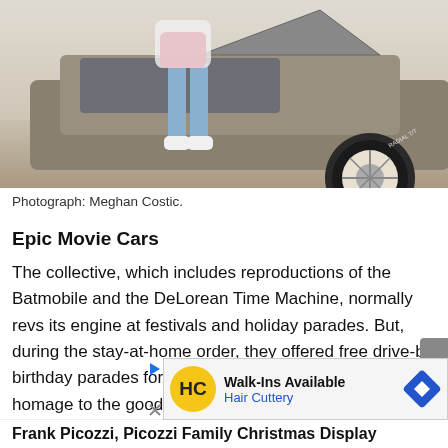[Figure (photo): Person standing next to a DeLorean Time Machine replica car, gull-wing door open, on a paved surface. Photo shows legs of a person in jeans and white sneakers, with the car's silver body, wheel, and tire visible.]
Photograph: Meghan Costic.
Epic Movie Cars
The collective, which includes reproductions of the Batmobile and the DeLorean Time Machine, normally revs its engine at festivals and holiday parades. But, during the stay-at-home order, they offered free drive-by birthday parades for fans. Epic Movie Cars pays homage to the good guys on the big screen, but they’re the real-life birthday heroes
[Figure (other): Advertisement banner for Hair Cuttery: Walk-Ins Available, with yellow HC logo circle and blue diamond navigation icon.]
Frank Picozzi, Picozzi Family Christmas Display